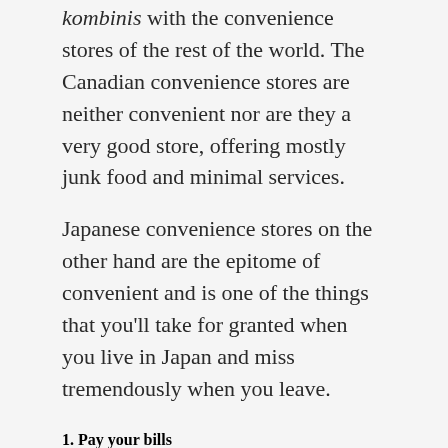'kombinis' with the convenience stores of the rest of the world. The Canadian convenience stores are neither convenient nor are they a very good store, offering mostly junk food and minimal services.
Japanese convenience stores on the other hand are the epitome of convenient and is one of the things that you'll take for granted when you live in Japan and miss tremendously when you leave.
1. Pay your bills
Most of the Japanese banking services are not surprisingly all in Japanese. This also includes online banking. So if you don't